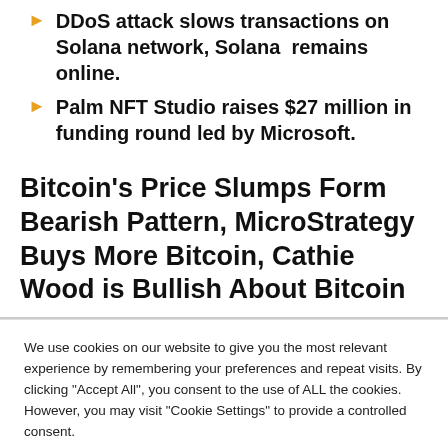DDoS attack slows transactions on Solana network, Solana remains online.
Palm NFT Studio raises $27 million in funding round led by Microsoft.
Bitcoin’s Price Slumps Form Bearish Pattern, MicroStrategy Buys More Bitcoin, Cathie Wood is Bullish About Bitcoin
We use cookies on our website to give you the most relevant experience by remembering your preferences and repeat visits. By clicking “Accept All”, you consent to the use of ALL the cookies. However, you may visit "Cookie Settings" to provide a controlled consent.
Cookie Settings | Accept All
Read our Cookie Statement